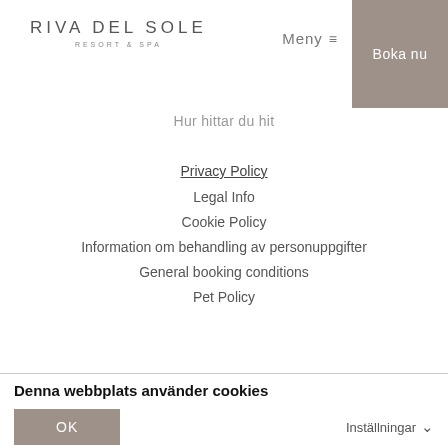Riva Del Sole Resort & Spa
Hur hittar du hit
Privacy Policy
Legal Info
Cookie Policy
Information om behandling av personuppgifter
General booking conditions
Pet Policy
Denna webbplats använder cookies
Vi använder enhetsidentifierare för att anpassa innehållet och annonserna till användarna, tillhandahålla funktioner för sociala medier och analysera vår trafik. Vi vidarebefordrar även sådana identifierare och annan information från din enhet till de sociala medier och annons- och analysföretag som vi samarbetar med. Dessa kan i sin tur kombinera informationen med annan information som du har tillhandahållit eller som de har samlat in när du har använt deras tjänster. Du godkänner våra cookies vid fortsatt användande av vår webbplats. Besök vår Cookie Policy för mer information.
OK
Inställningar